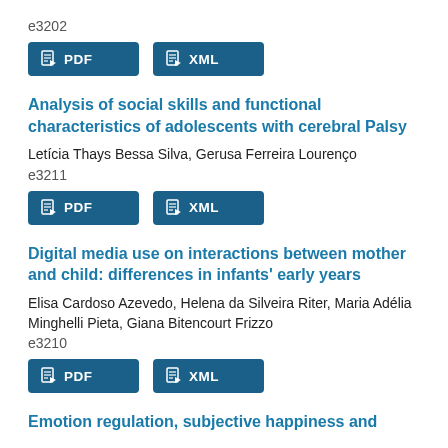e3202
[Figure (other): PDF and XML download buttons for article e3202]
Analysis of social skills and functional characteristics of adolescents with cerebral Palsy
Letícia Thays Bessa Silva, Gerusa Ferreira Lourenço
e3211
[Figure (other): PDF and XML download buttons for article e3211]
Digital media use on interactions between mother and child: differences in infants' early years
Elisa Cardoso Azevedo, Helena da Silveira Riter, Maria Adélia Minghelli Pieta, Giana Bitencourt Frizzo
e3210
[Figure (other): PDF and XML download buttons for article e3210]
Emotion regulation, subjective happiness and